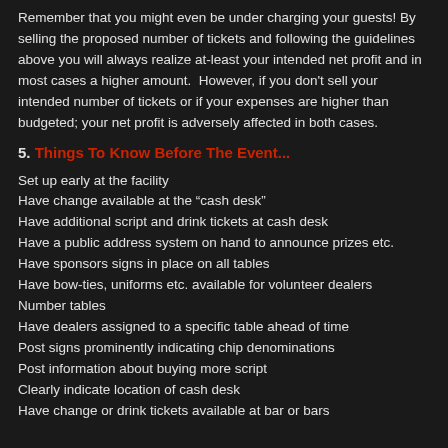Remember that you might even be under charging your guests! By selling the proposed number of tickets and following the guidelines above you will always realize at-least your intended net profit and in most cases a higher amount.  However, if you don't sell your intended number of tickets or if your expenses are higher than budgeted; your net profit is adversely affected in both cases.
5. Things To Know Before The Event...
Set up early at the facility
Have change available at the “cash desk”
Have additional script and drink tickets at cash desk
Have a public address system on hand to announce prizes etc.
Have sponsors signs in place on all tables
Have bow-ties, uniforms etc. available for volunteer dealers
Number tables
Have dealers assigned to a specific table ahead of time
Post signs prominently indicating chip denominations
Post information about buying more script
Clearly indicate location of cash desk
Have change or drink tickets available at bar or bars